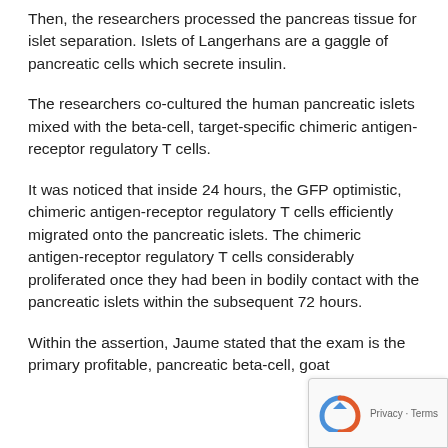Then, the researchers processed the pancreas tissue for islet separation. Islets of Langerhans are a gaggle of pancreatic cells which secrete insulin.
The researchers co-cultured the human pancreatic islets mixed with the beta-cell, target-specific chimeric antigen-receptor regulatory T cells.
It was noticed that inside 24 hours, the GFP optimistic, chimeric antigen-receptor regulatory T cells efficiently migrated onto the pancreatic islets. The chimeric antigen-receptor regulatory T cells considerably proliferated once they had been in bodily contact with the pancreatic islets within the subsequent 72 hours.
Within the assertion, Jaume stated that the exam is the primary profitable, pancreatic beta-cell, goat...